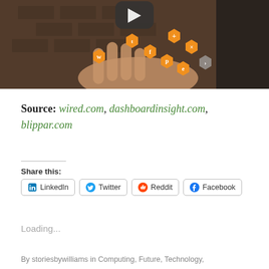[Figure (photo): A hand holding orange hexagonal social media icons with a YouTube play button above, against a brick wall background]
Source: wired.com, dashboardinsight.com, blippar.com
Share this:
LinkedIn  Twitter  Reddit  Facebook
Loading...
By storiesbywilliams in Computing, Future, Technology,